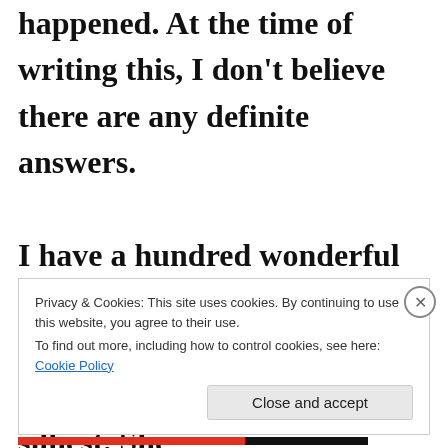happened. At the time of writing this, I don't believe there are any definite answers.

I have a hundred wonderful memories of time spent with her. The Tap-To-Tap Challenge was perhaps the silliest. She
Privacy & Cookies: This site uses cookies. By continuing to use this website, you agree to their use.
To find out more, including how to control cookies, see here: Cookie Policy